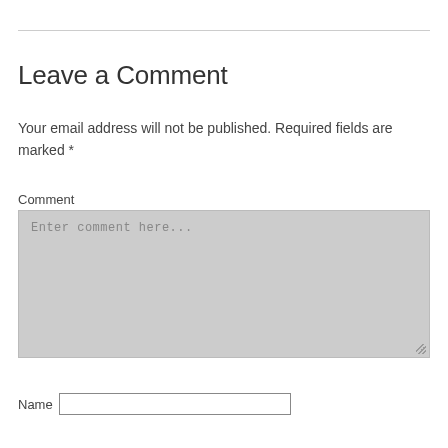Leave a Comment
Your email address will not be published. Required fields are marked *
Comment
[Figure (other): Comment text area input box with placeholder text 'Enter comment here...' with resize handle at bottom right]
Name